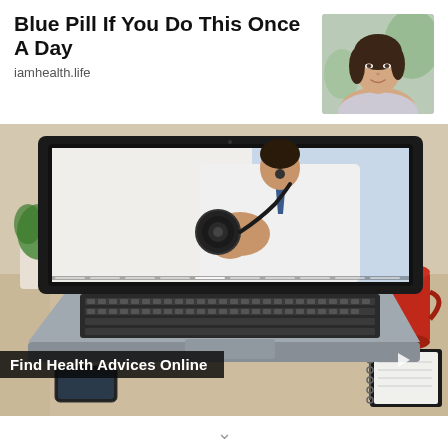Blue Pill If You Do This Once A Day
iamhealth.life
[Figure (photo): Portrait photo of a woman with dark hair, smiling, wearing a light top and necklace, against a blurred green background]
[Figure (screenshot): Photo of a laptop on a desk showing a doctor in a white coat holding a stethoscope toward the camera on the laptop screen. On the desk: glasses, a smartphone, a red mug, and a spiral notebook. A video progress bar is visible at the bottom.]
Find Health Advices Online